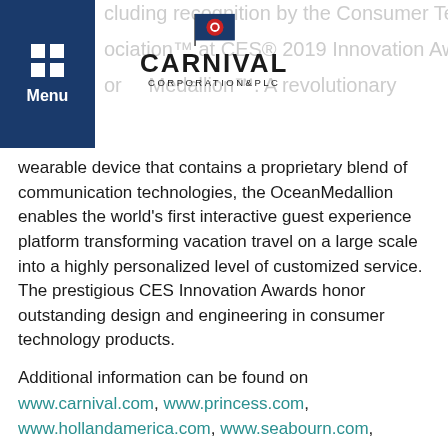Carnival Corporation & PLC — Navigation header with logo
wearable device that contains a proprietary blend of communication technologies, the OceanMedallion enables the world's first interactive guest experience platform transforming vacation travel on a large scale into a highly personalized level of customized service. The prestigious CES Innovation Awards honor outstanding design and engineering in consumer technology products.
Additional information can be found on www.carnival.com, www.princess.com, www.hollandamerica.com, www.seabourn.com, www.pocruises.com.au, www.costacruise.com, www.aida.de, www.pocruises.com and www.cunard.com.
About Tropical Shipping